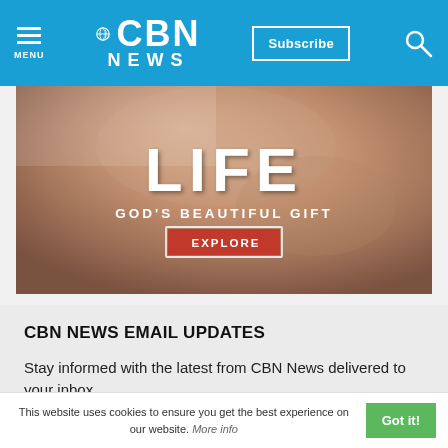CBN NEWS — Menu, Subscribe, Search navigation bar
[Figure (photo): Banner image with baby/infant close-up photo, overlaid with white bold text: LIFE / GOD'S BEAUTIFUL GIFT / EXPLORE button in red]
CBN NEWS EMAIL UPDATES
Stay informed with the latest from CBN News delivered to your inbox.
Quick Start Morning Update
Mid-Day Update
This website uses cookies to ensure you get the best experience on our website. More info